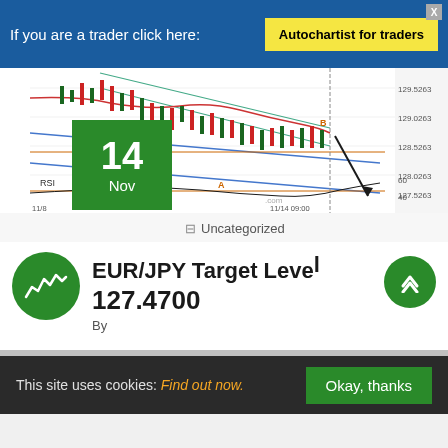If you are a trader click here: Autochartist for traders
[Figure (continuous-plot): EUR/JPY financial candlestick chart with RSI indicator showing price levels from 127.5263 to 129.5263, with trend lines marked A and B, date range 11/8 to 11/14 09:00]
14 Nov
Uncategorized
EUR/JPY Target Level 127.4700
By
This site uses cookies: Find out now. Okay, thanks